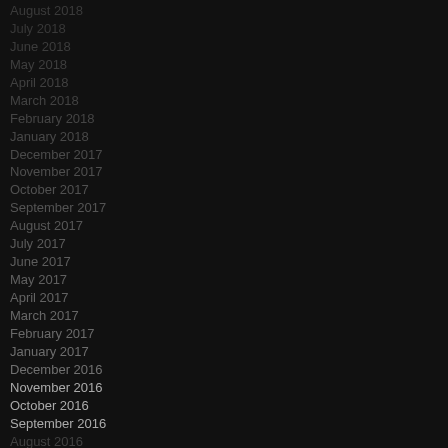August 2018
July 2018
June 2018
May 2018
April 2018
March 2018
February 2018
January 2018
December 2017
November 2017
October 2017
September 2017
August 2017
July 2017
June 2017
May 2017
April 2017
March 2017
February 2017
January 2017
December 2016
November 2016
October 2016
September 2016
August 2016